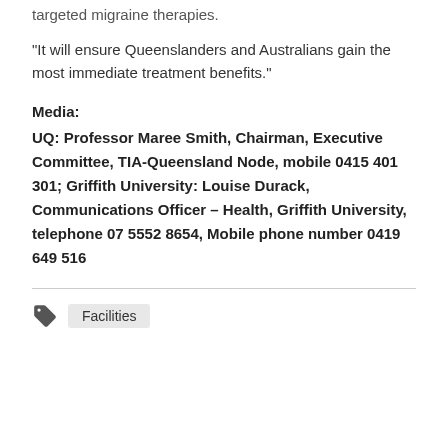targeted migraine therapies.
“It will ensure Queenslanders and Australians gain the most immediate treatment benefits.”
Media:
UQ: Professor Maree Smith, Chairman, Executive Committee, TIA-Queensland Node, mobile 0415 401 301; Griffith University: Louise Durack, Communications Officer – Health, Griffith University, telephone 07 5552 8654, Mobile phone number 0419 649 516
Facilities